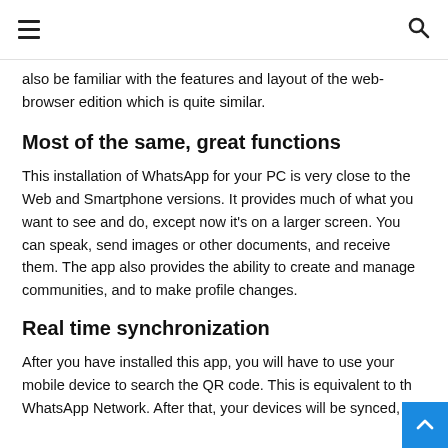≡  🔍
also be familiar with the features and layout of the web-browser edition which is quite similar.
Most of the same, great functions
This installation of WhatsApp for your PC is very close to the Web and Smartphone versions. It provides much of what you want to see and do, except now it's on a larger screen. You can speak, send images or other documents, and receive them. The app also provides the ability to create and manage communities, and to make profile changes.
Real time synchronization
After you have installed this app, you will have to use your mobile device to search the QR code. This is equivalent to the WhatsApp Network. After that, your devices will be synced,